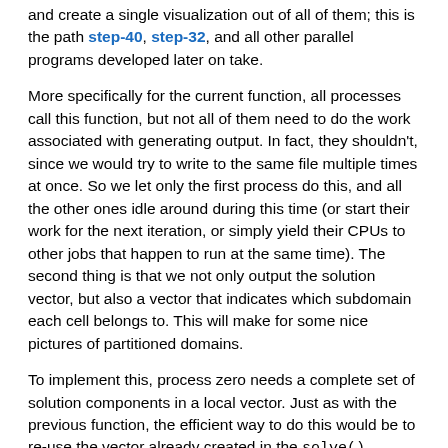and create a single visualization out of all of them; this is the path step-40, step-32, and all other parallel programs developed later on take.
More specifically for the current function, all processes call this function, but not all of them need to do the work associated with generating output. In fact, they shouldn't, since we would try to write to the same file multiple times at once. So we let only the first process do this, and all the other ones idle around during this time (or start their work for the next iteration, or simply yield their CPUs to other jobs that happen to run at the same time). The second thing is that we not only output the solution vector, but also a vector that indicates which subdomain each cell belongs to. This will make for some nice pictures of partitioned domains.
To implement this, process zero needs a complete set of solution components in a local vector. Just as with the previous function, the efficient way to do this would be to re-use the vector already created in the solve() function, but to keep things more self-contained, we simply re-create one here from the distributed solution vector.
An important thing to realize is that we do this localization operation